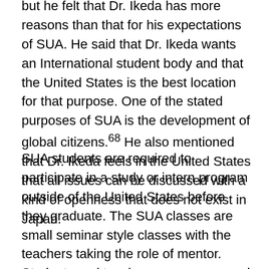but he felt that Dr. Ikeda has more reasons than that for his expectations of SUA. He said that Dr. Ikeda wants an International student body and that the United States is the best location for that purpose. One of the stated purposes of SUA is the development of global citizens.68 He also mentioned that Dr. Ikeda feels in the United States that all issues can be discussed with a kind of openness that does not exist in Japan.
SUA students are required to participate in a study or intern program outside of the United States before they graduate. The SUA classes are small seminar style classes with the teachers taking the role of mentor. Students and teachers are encouraged to develop close relationships in which the students feel free to ask questions.